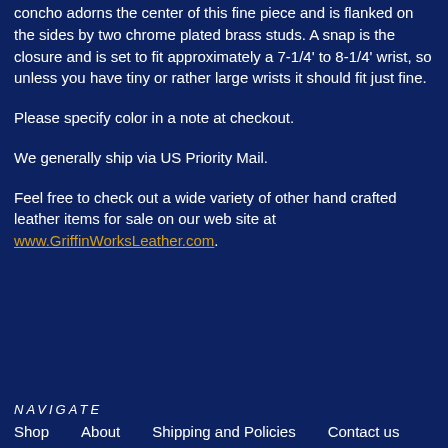concho adorns the center of this fine piece and is flanked on the sides by two chrome plated brass studs. A snap is the closure and is set to fit approximately a 7-1/4' to 8-1/4' wrist, so unless you have tiny or rather large wrists it should fit just fine.
Please specify color in a note at checkout.
We generally ship via US Priority Mail.
Feel free to check out a wide variety of other hand crafted leather items for sale on our web site at www.GriffinWorksLeather.com.
NAVIGATE
Shop   About   Shipping and Policies   Contact us